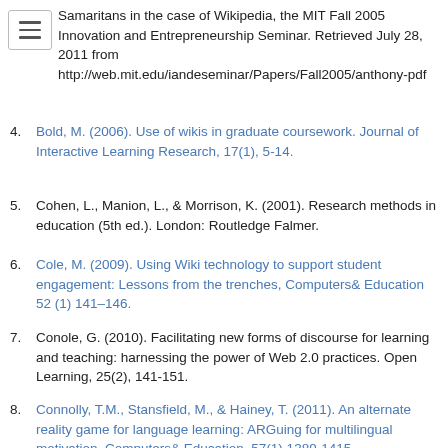Samaritans in the case of Wikipedia, the MIT Fall 2005 Innovation and Entrepreneurship Seminar. Retrieved July 28, 2011 from http://web.mit.edu/iandeseminar/Papers/Fall2005/anthony-pdf
4. Bold, M. (2006). Use of wikis in graduate coursework. Journal of Interactive Learning Research, 17(1), 5-14.
5. Cohen, L., Manion, L., & Morrison, K. (2001). Research methods in education (5th ed.). London: Routledge Falmer.
6. Cole, M. (2009). Using Wiki technology to support student engagement: Lessons from the trenches, Computers& Education 52 (1) 141–146.
7. Conole, G. (2010). Facilitating new forms of discourse for learning and teaching: harnessing the power of Web 2.0 practices. Open Learning, 25(2), 141-151.
8. Connolly, T.M., Stansfield, M., & Hainey, T. (2011). An alternate reality game for language learning: ARGuing for multilingual motivation, Computers& Education, 57(1) 1389-1415.
9. Cortazzi, M., & Hall, B. (1999). Vygotsky and learning. Education Libraries Journal, 42(3), 17-21.